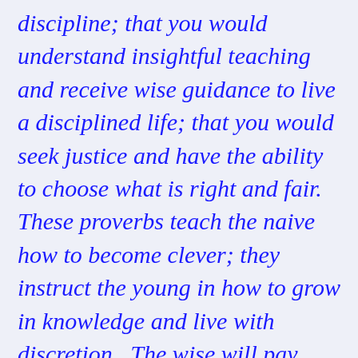discipline; that you would understand insightful teaching and receive wise guidance to live a disciplined life; that you would seek justice and have the ability to choose what is right and fair.  These proverbs teach the naive how to become clever; they instruct the young in how to grow in knowledge and live with discretion.  The wise will pay attention to these words and will grow in learning, and the discerning will receive divine guidance, and they will be able to interpret...